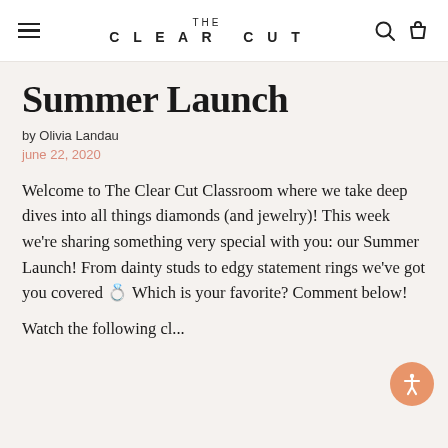THE CLEAR CUT
Summer Launch
by Olivia Landau
june 22, 2020
Welcome to The Clear Cut Classroom where we take deep dives into all things diamonds (and jewelry)! This week we're sharing something very special with you: our Summer Launch! From dainty studs to edgy statement rings we've got you covered 💍 Which is your favorite? Comment below!
Watch the following cl...